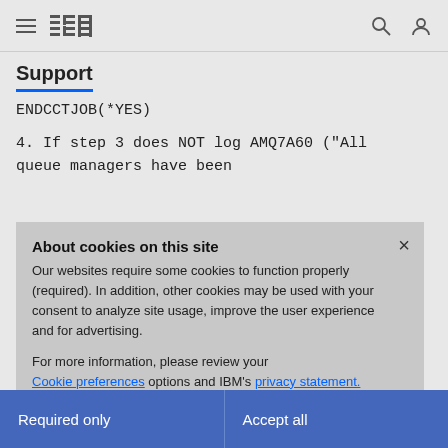IBM Support
Support
ENDCCTJOB(*YES)
4. If step 3 does NOT log AMQ7A60 ("All queue managers have been
About cookies on this site
Our websites require some cookies to function properly (required). In addition, other cookies may be used with your consent to analyze site usage, improve the user experience and for advertising.
For more information, please review your Cookie preferences options and IBM's privacy statement.
Required only
Accept all